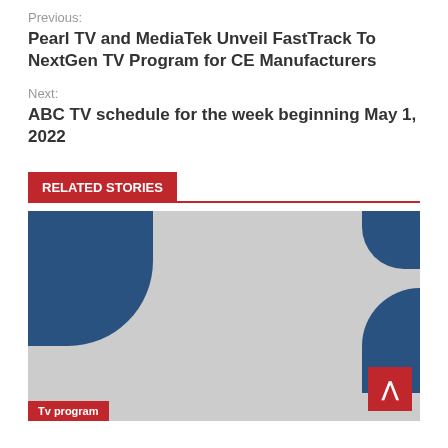Previous:
Pearl TV and MediaTek Unveil FastTrack To NextGen TV Program for CE Manufacturers
Next:
ABC TV schedule for the week beginning May 1, 2022
RELATED STORIES
[Figure (illustration): Decorative placeholder image with blue geometric shapes on a grey background, with a red 'Tv program' label at the bottom left.]